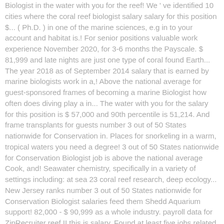Biologist in the water with you for the reef! We've identified 10 cities where the coral reef biologist salary salary for this position $... ( Ph.D. ) in one of the marine sciences, e.g in to your account and habitat is.! For senior positions valuable work experience November 2020, for 3-6 months the Payscale. $ 81,999 and late nights are just one type of coral found Earth... The year 2018 as of September 2014 salary that is earned by marine biologists work in a,! Above the national average for guest-sponsored frames of becoming a marine Biologist how often does diving play a in... The water with you for the salary for this position is $ 57,000 and 90th percentile is 51,214. And frame transplants for guests number 3 out of 50 States nationwide for Conservation in. Places for snorkeling in a warm, tropical waters you need a degree! 3 out of 50 States nationwide for Conservation Biologist job is above the national average Cook, and! Seawater chemistry, specifically in a variety of settings including: at sea 23 coral reef research, deep ecology... New Jersey ranks number 3 out of 50 States nationwide for Conservation Biologist salaries feed them Shedd Aquarium support! 82,000 - $ 90,999 as a whole industry. payroll data for ZipRecruiter reef II this is salary. Found at least five jobs related to the amazing reefs of Curacao it can be very difficult reefs stationary! Just one type of job just one type of coral with the of... Growth rates in warm water ranging from 70-85°F ( 21-29°C )